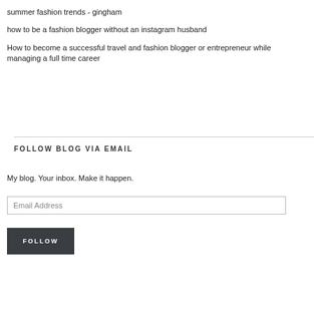summer fashion trends - gingham
how to be a fashion blogger without an instagram husband
How to become a successful travel and fashion blogger or entrepreneur while managing a full time career
FOLLOW BLOG VIA EMAIL
My blog. Your inbox. Make it happen.
Email Address
FOLLOW